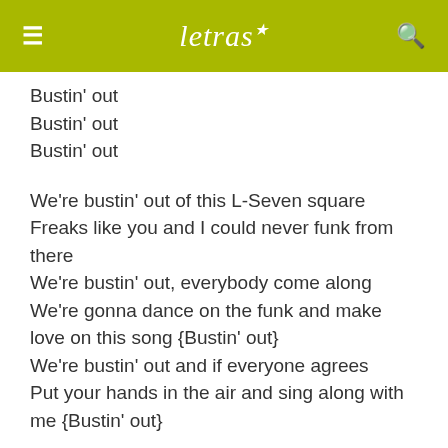letras
Bustin' out
Bustin' out
Bustin' out
We're bustin' out of this L-Seven square
Freaks like you and I could never funk from there
We're bustin' out, everybody come along
We're gonna dance on the funk and make love on this song {Bustin' out}
We're bustin' out and if everyone agrees
Put your hands in the air and sing along with me {Bustin' out}
We're bustin' out on the funk {Bustin' out}
We're bustin' out on some serious funk, y'all {Bustin'